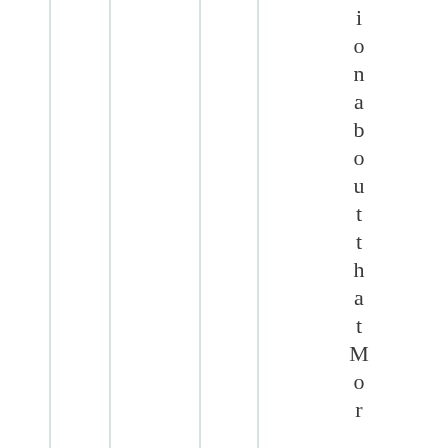[Figure (other): Four vertical teal/green-tinted lines forming columns on the left half of the page]
i o n a b o u t t h a t M o r